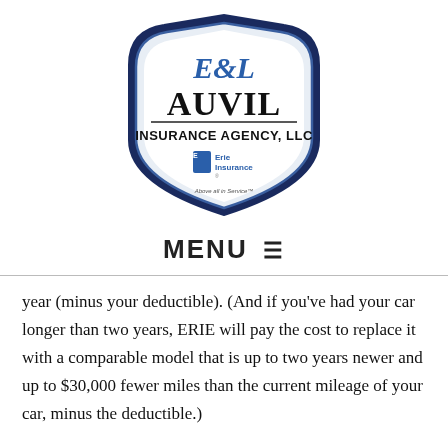[Figure (logo): Auvil Insurance Agency LLC logo with Erie Insurance badge, shield shape with blue decorative lettering]
MENU ≡
year (minus your deductible). (And if you've had your car longer than two years, ERIE will pay the cost to replace it with a comparable model that is up to two years newer and up to $30,000 fewer miles than the current mileage of your car, minus the deductible.)